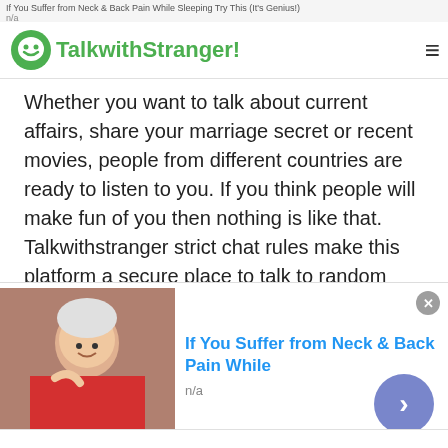If You Suffer from Neck & Back Pain While Sleeping Try This (It's Genius!)
n/a
>
TalkwithStranger!
Whether you want to talk about current affairs, share your marriage secret or recent movies, people from different countries are ready to listen to you. If you think people will make fun of you then nothing is like that. Talkwithstranger strict chat rules make this platform a secure place to talk to random people.
Talk to strangers in Greece, Canada, America, UK, Germany, India via community chat helps you learn new things that you have never heard before. Well, you can join the ongoing discussion or join the active
[Figure (screenshot): Advertisement overlay at bottom: image of elderly woman with neck pain, title 'If You Suffer from Neck & Back Pain While', n/a label, close button (x), and next arrow button (>)]